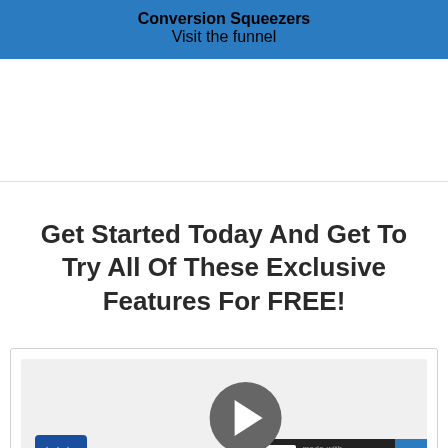Conversion Squeezers
Visit the funnel
Get Started Today And Get To Try All Of These Exclusive Features For FREE!
[Figure (screenshot): Video player thumbnail showing ClickFunnels branding with a play button overlay. Bottom right has a 'made with ClickFunnels' badge with a blue arrow button. Bottom left shows the ClickFunnels logo and the start of 'clickfunn...' text.]